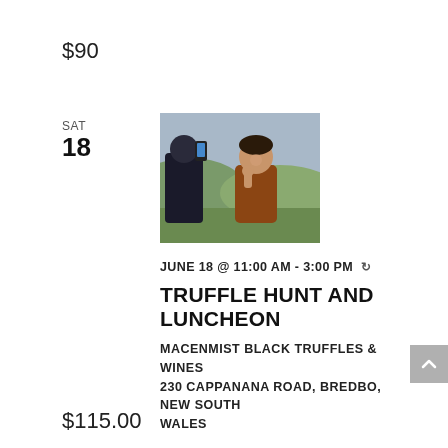$90
SAT
18
[Figure (photo): Two people outdoors, one holding a phone photographing food the other is tasting, with hills in background.]
JUNE 18 @ 11:00 AM - 3:00 PM ↻
TRUFFLE HUNT AND LUNCHEON
MACENMIST BLACK TRUFFLES & WINES
230 CAPPANANA ROAD, BREDBO, NEW SOUTH WALES
$115.00